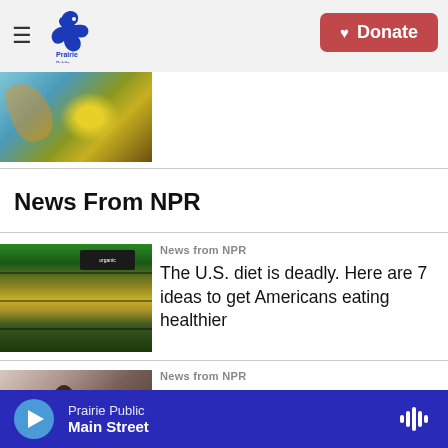Prairie Public — Donate
[Figure (photo): Nature photo showing a butterfly or insect on a plant with bokeh background]
News From NPR
News from NPR
[Figure (photo): Grocery store produce aisle with shelves of food]
The U.S. diet is deadly. Here are 7 ideas to get Americans eating healthier
News from NPR
[Figure (photo): People at an indoor gathering or event]
Prairie Public — Main Street